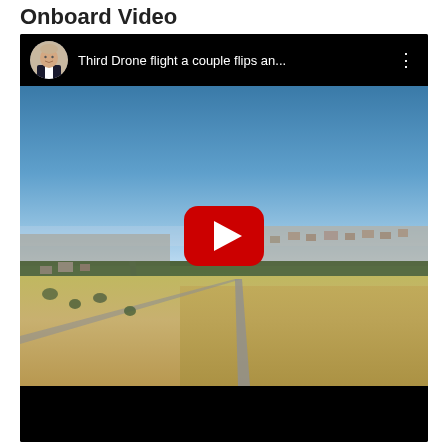Onboard Video
[Figure (screenshot): YouTube embedded video player showing a drone aerial footage titled 'Third Drone flight a couple flips an...' with a thumbnail showing an aerial view of a suburban neighborhood with open land, blue sky, and a YouTube play button overlay.]